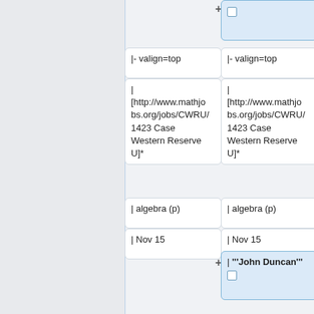[Figure (screenshot): Wiki table editor UI showing two columns of cell boxes. Top section shows a blue highlighted cell with checkbox and plus icon, followed by rows: '|- valign=top', a URL cell '[http://www.mathjobs.org/jobs/CWRU/1423 Case Western Reserve U]*', '| algebra (p)', '| Nov 15'. Then a blue highlighted cell '| '''John Duncan''' with checkbox and plus icon. Then more rows: '|- valign=top', and '[http://www.fps.cmich.edu/jobs/cst_mth.asp Central Michigan U]' partial.]